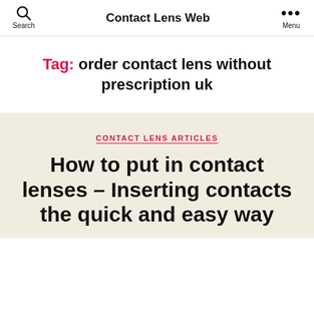Contact Lens Web
Tag: order contact lens without prescription uk
CONTACT LENS ARTICLES
How to put in contact lenses – Inserting contacts the quick and easy way